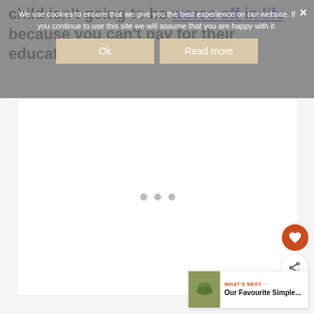child isn't going to be worse off in life because you can't pay for their education.
We use cookies to ensure that we give you the best experience on our website. If you continue to use this site we will assume that you are happy with it.
Ok
Read more
[Figure (screenshot): White content area with three loading dots (pagination indicators)]
WHAT'S NEXT → Our Favourite Simple...